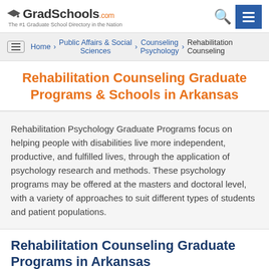GradSchools.com — The #1 Graduate School Directory in the Nation
Home > Public Affairs & Social Sciences > Counseling Psychology > Rehabilitation Counseling
Rehabilitation Counseling Graduate Programs & Schools in Arkansas
Rehabilitation Psychology Graduate Programs focus on helping people with disabilities live more independent, productive, and fulfilled lives, through the application of psychology research and methods. These psychology programs may be offered at the masters and doctoral level, with a variety of approaches to suit different types of students and patient populations.
Rehabilitation Counseling Graduate Programs in Arkansas